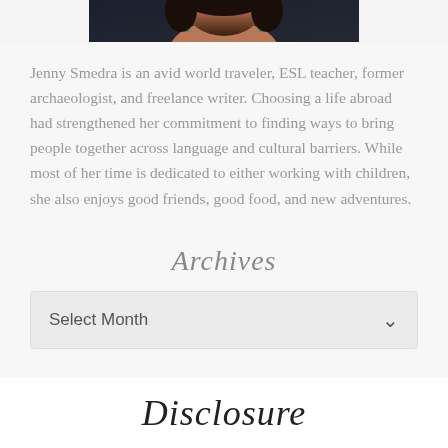[Figure (photo): Partial cropped photo of a woman wearing teal/green earrings, dark background, upper portion only visible]
Jenny Smedra is an avid world traveler, ESL teacher, former archaeologist, and freelance writer. Choosing a life abroad had strengthened her commitment to finding ways to bring people together across language and cultural barriers. While most of her time is dedicated to either working with children, she also enjoys good friends, good food, and new adventures.
Archives
Select Month
Disclosure